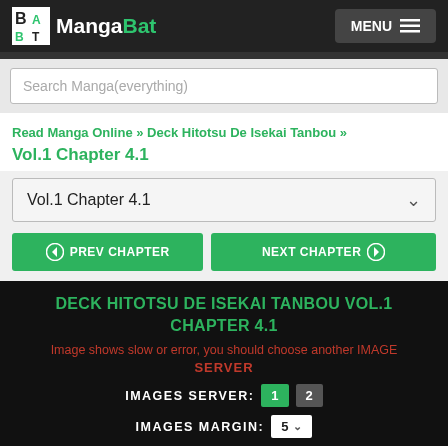MangaBat MENU
Search Manga(everything)
Read Manga Online » Deck Hitotsu De Isekai Tanbou » Vol.1 Chapter 4.1
Vol.1 Chapter 4.1
Vol.1 Chapter 4.1 (dropdown)
PREV CHAPTER
NEXT CHAPTER
DECK HITOTSU DE ISEKAI TANBOU VOL.1 CHAPTER 4.1
Image shows slow or error, you should choose another IMAGE SERVER
IMAGES SERVER: 1 2
IMAGES MARGIN: 5